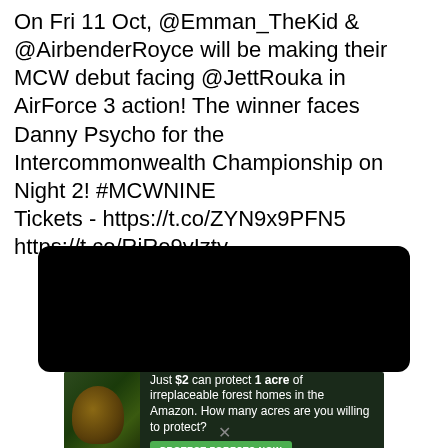On Fri 11 Oct, @Emman_TheKid & @AirbenderRoyce will be making their MCW debut facing @JettRouka in AirForce 3 action! The winner faces Danny Psycho for the Intercommonwealth Championship on Night 2! #MCWNINE Tickets - https://t.co/ZYN9x9PFN5 https://t.co/RjRe9yIzty
[Figure (photo): Large black/dark image area, appears to be a video thumbnail or embedded media, entirely black]
[Figure (photo): Advertisement banner: image of a primate/animal on left against jungle background, text reads 'Just $2 can protect 1 acre of irreplaceable forest homes in the Amazon. How many acres are you willing to protect?' with green 'PROTECT FORESTS NOW' button]